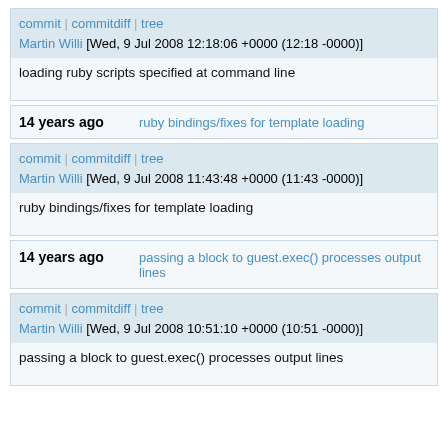commit | commitdiff | tree
Martin Willi [Wed, 9 Jul 2008 12:18:06 +0000 (12:18 -0000)]
loading ruby scripts specified at command line
14 years ago    ruby bindings/fixes for template loading
commit | commitdiff | tree
Martin Willi [Wed, 9 Jul 2008 11:43:48 +0000 (11:43 -0000)]
ruby bindings/fixes for template loading
14 years ago    passing a block to guest.exec() processes output lines
commit | commitdiff | tree
Martin Willi [Wed, 9 Jul 2008 10:51:10 +0000 (10:51 -0000)]
passing a block to guest.exec() processes output lines